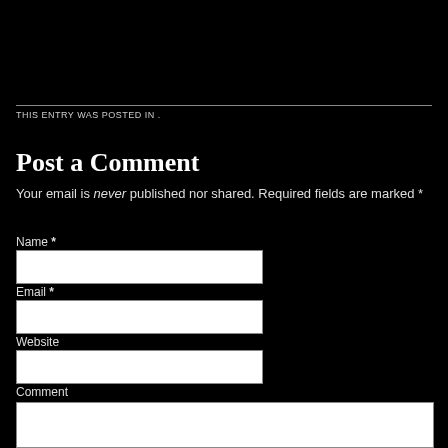THIS ENTRY WAS POSTED IN .
Post a Comment
Your email is never published nor shared. Required fields are marked *
Name *
Email *
Website
Comment